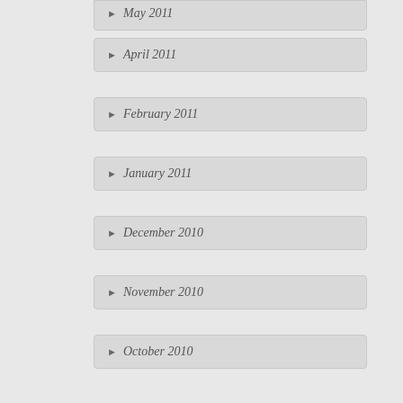May 2011
April 2011
February 2011
January 2011
December 2010
November 2010
October 2010
September 2010
August 2010
July 2010
June 2010